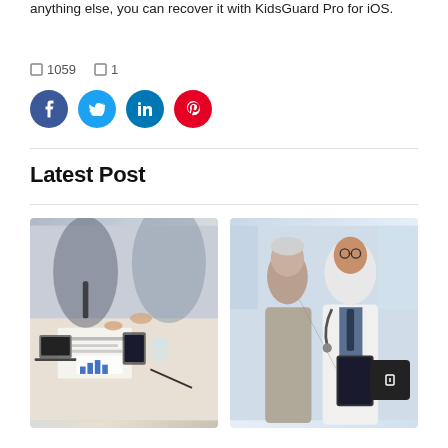anything else, you can recover it with KidsGuard Pro for iOS.
🔲 1059   🔲 1
[Figure (infographic): Four social share buttons: Facebook (dark blue circle), Twitter (light blue circle), LinkedIn (dark blue circle), Pinterest (red circle)]
Latest Post
[Figure (photo): Business meeting photo: multiple people around a table with laptops, tablets, documents and charts, hands pointing at papers]
[Figure (photo): Medical photo: a doctor in white coat with stethoscope showing a tablet to an elderly female patient]